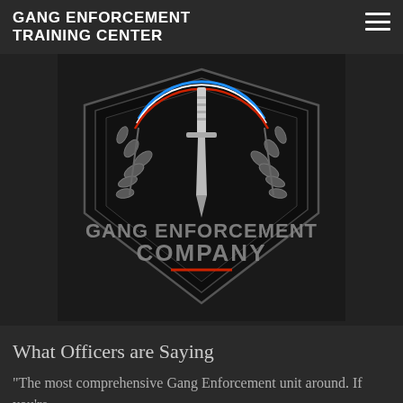GANG ENFORCEMENT TRAINING CENTER
[Figure (logo): Gang Enforcement Company badge/shield logo with laurel wreath, sword, and colored stripes (blue, white, red) on black background. Text reads GANG ENFORCEMENT COMPANY with red underline.]
What Officers are Saying
"The most comprehensive Gang Enforcement unit around. If you're in Law Enforcement and you don't sign up you've gotta have your